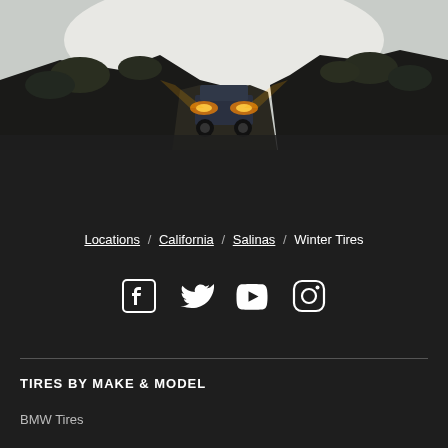[Figure (photo): Off-road vehicle with headlights on driving through a rocky trail at dusk, surrounded by scrubby vegetation and rocks]
Locations / California / Salinas / Winter Tires
[Figure (infographic): Social media icons: Facebook, Twitter, YouTube, Instagram]
TIRES BY MAKE & MODEL
BMW Tires